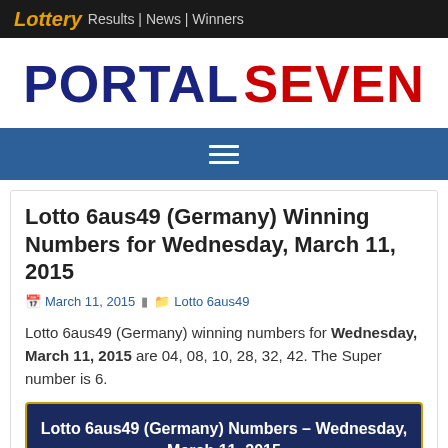Lottery Results | News | Winners
PORTAL SEVEN
Lotto 6aus49 (Germany) Winning Numbers for Wednesday, March 11, 2015
March 11, 2015  Lotto 6aus49
Lotto 6aus49 (Germany) winning numbers for Wednesday, March 11, 2015 are 04, 08, 10, 28, 32, 42. The Super number is 6.
Lotto 6aus49 (Germany) Numbers – Wednesday, March 11, 2015